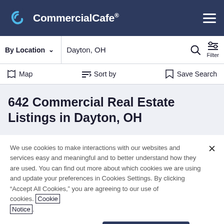CommercialCafe®
By Location   Dayton, OH   Filter
Map   Sort by   Save Search
642 Commercial Real Estate Listings in Dayton, OH
We use cookies to make interactions with our websites and services easy and meaningful and to better understand how they are used. You can find out more about which cookies we are using and update your preferences in Cookies Settings. By clicking "Accept All Cookies," you are agreeing to our use of cookies. Cookie Notice.
Cookies Settings   Accept All Cookies